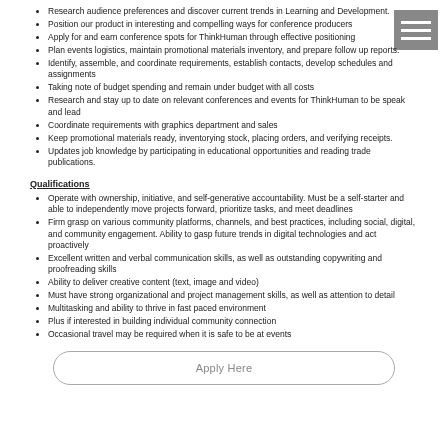Research audience preferences and discover current trends in Learning and Development.
Position our product in interesting and compelling ways for conference producers
Apply for and earn conference spots for ThinkHuman through effective positioning
Plan events logistics, maintain promotional materials inventory, and prepare follow up reports.
Identify, assemble, and coordinate requirements, establish contacts, develop schedules and assignments
Taking note of budget spending and remain under budget with all costs
Research and stay up to date on relevant conferences and events for ThinkHuman to be speak and lead
Coordinate requirements with graphics department and sales
Keep promotional materials ready, inventorying stock, placing orders, and verifying receipts.
Updates job knowledge by participating in educational opportunities and reading trade publications.
Qualifications
Operate with ownership, initiative, and self-generative accountability. Must be a self-starter and able to independently move projects forward, prioritize tasks, and meet deadlines
Firm grasp on various community platforms, channels, and best practices, including social, digital, and community engagement. Ability to gasp future trends in digital technologies and act proactively
Excellent written and verbal communication skills, as well as outstanding copywriting and proofreading skills
Ability to deliver creative content (text, image and video)
Must have strong organizational and project management skills, as well as attention to detail
Multitasking and ability to thrive in fast paced environment
Plus if interested in building individual community connection
Occasional travel may be required when it is safe to be at events
Apply Here